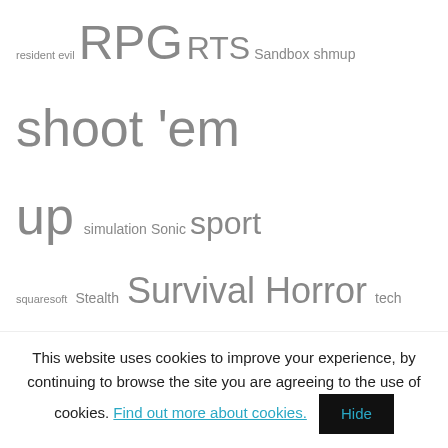resident evil RPG RTS Sandbox shmup shoot 'em up simulation Sonic sport squaresoft Stealth Survival Horror tech demo third person shooter ubisoft unseen64 zelda
RECENT COMMENTS
Duc Nguyen on John Madden Football [NES – Unreleased]
LiqMat on Golgotha (Crack dot Com) [PC – Cancelled]
Todd_the_Toad on Golgotha (Crack dot Com) [PC – Cancelled]
This website uses cookies to improve your experience, by continuing to browse the site you are agreeing to the use of cookies. Find out more about cookies. Hide